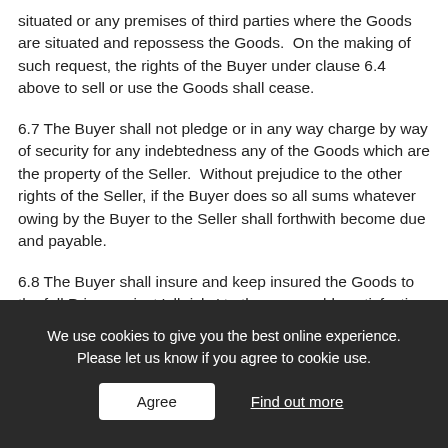situated or any premises of third parties where the Goods are situated and repossess the Goods. On the making of such request, the rights of the Buyer under clause 6.4 above to sell or use the Goods shall cease.
6.7 The Buyer shall not pledge or in any way charge by way of security for any indebtedness any of the Goods which are the property of the Seller. Without prejudice to the other rights of the Seller, if the Buyer does so all sums whatever owing by the Buyer to the Seller shall forthwith become due and payable.
6.8 The Buyer shall insure and keep insured the Goods to the full Price against 'all risks' to the reasonable satisfaction of the Seller until the date that property in
We use cookies to give you the best online experience. Please let us know if you agree to cookie use.
Agree
Find out more